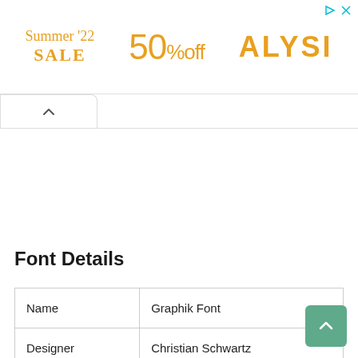[Figure (other): Advertisement banner with 'Summer '22 SALE', '50% off', and 'ALYSI' text in orange/gold color, with small ad icons in top-right corner]
[Figure (other): Accordion/tab UI element with upward-pointing caret arrow on white background with rounded top-right corner]
Font Details
| Name | Graphik Font |
| Designer | Christian Schwartz |
| Style | Sans-serif |